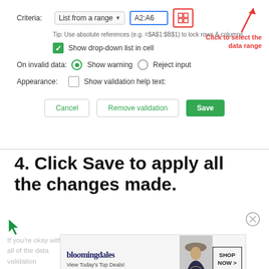[Figure (screenshot): Google Sheets data validation dialog showing Criteria set to 'List from a range' with range A2:A6, a grid icon button highlighted with red border, a red arrow and annotation 'Click to select the data range', tip text about absolute references, a checked green checkbox for 'Show drop-down list in cell', radio buttons for 'On invalid data: Show warning / Reject input', a checkbox for 'Appearance: Show validation help text:', and Cancel / Remove validation / Save buttons.]
4. Click Save to apply all the changes made.
If you're okay with all of the data validation window... changes...
[Figure (screenshot): Bloomingdale's advertisement banner: 'bloomingdales View Today's Top Deals!' with a woman in a hat and 'SHOP NOW >' button.]